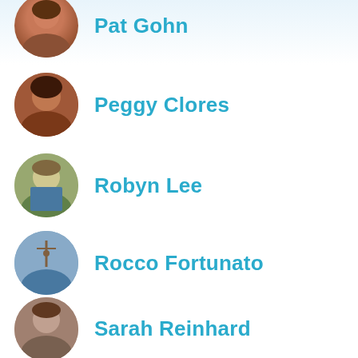Pat Gohn
Peggy Clores
Robyn Lee
Rocco Fortunato
Sarah Reinhard
Sherine Green
Sr. Teresa Joseph fma